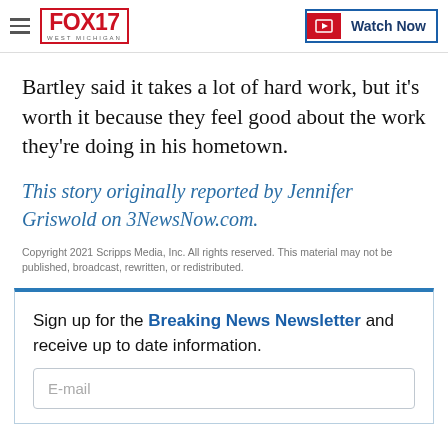FOX 17 WEST MICHIGAN | Watch Now
Bartley said it takes a lot of hard work, but it's worth it because they feel good about the work they're doing in his hometown.
This story originally reported by Jennifer Griswold on 3NewsNow.com.
Copyright 2021 Scripps Media, Inc. All rights reserved. This material may not be published, broadcast, rewritten, or redistributed.
Sign up for the Breaking News Newsletter and receive up to date information.
E-mail